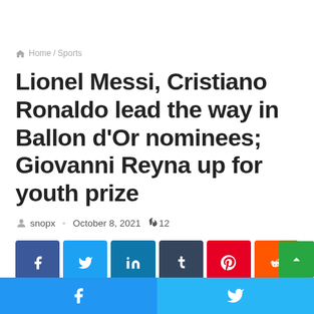Home / Sports
Lionel Messi, Cristiano Ronaldo lead the way in Ballon d’Or nominees; Giovanni Reyna up for youth prize
snopx · October 8, 2021 🔥 12